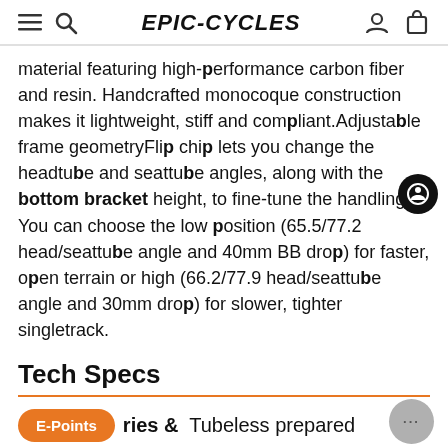EPIC-CYCLES
material featuring high-performance carbon fiber and resin. Handcrafted monocoque construction makes it lightweight, stiff and compliant.Adjustable frame geometryFlip chip lets you change the headtube and seattube angles, along with the bottom bracket height, to fine-tune the handling. You can choose the low position (65.5/77.2 head/seattube angle and 40mm BB drop) for faster, open terrain or high (66.2/77.9 head/seattube angle and 30mm drop) for slower, tighter singletrack.
Tech Specs
Accessories &  Tubeless prepared
Extras